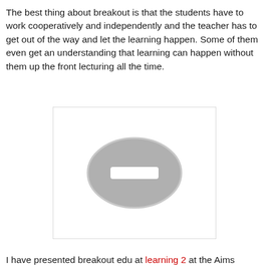The best thing about breakout is that the students have to work cooperatively and independently and the teacher has to get out of the way and let the learning happen. Some of them even get an understanding that learning can happen without them up the front lecturing all the time.
[Figure (other): Placeholder image with a grey oval containing a white minus/dash symbol in the center, on a white rectangular background with a light grey border.]
I have presented breakout edu at learning 2 at the Aims...